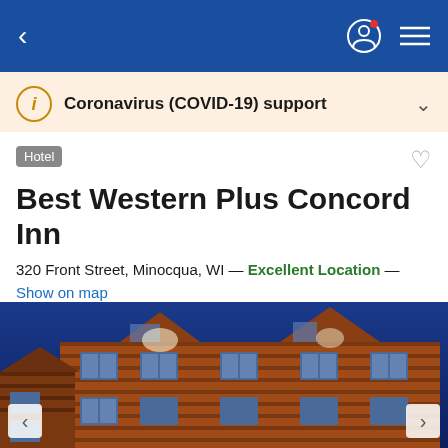Navigation bar with back arrow, user icon, and menu icon
Coronavirus (COVID-19) support
Hotel
Best Western Plus Concord Inn
320 Front Street, Minocqua, WI — Excellent Location — Show on map
7.9  Good · 60 reviews
[Figure (photo): Exterior photo of Best Western Plus Concord Inn at night — wooden multi-story building with illuminated windows against a dark blue sky]